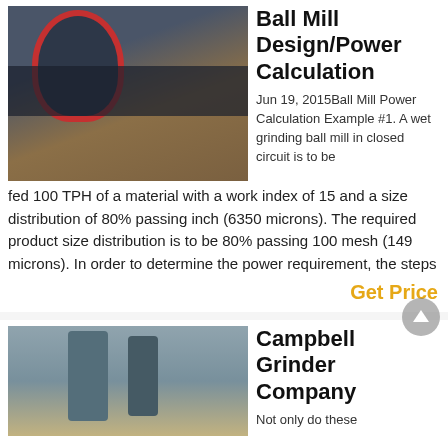[Figure (photo): Photograph of a large ball mill machine installed at a mining or quarry site, showing a large cylindrical drum with red and black components, industrial scaffolding and machinery in the background, rocky terrain.]
Ball Mill Design/Power Calculation
Jun 19, 2015Ball Mill Power Calculation Example #1. A wet grinding ball mill in closed circuit is to be fed 100 TPH of a material with a work index of 15 and a size distribution of 80% passing inch (6350 microns). The required product size distribution is to be 80% passing 100 mesh (149 microns). In order to determine the power requirement, the steps
Get Price
[Figure (photo): Photograph of industrial grinding equipment, likely a Campbell Grinder, showing tall cylindrical towers and metal framework structures at an industrial facility.]
Campbell Grinder Company
Not only do these